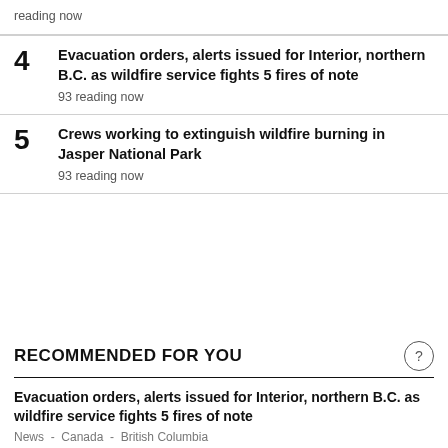reading now
4 Evacuation orders, alerts issued for Interior, northern B.C. as wildfire service fights 5 fires of note
93 reading now
5 Crews working to extinguish wildfire burning in Jasper National Park
93 reading now
RECOMMENDED FOR YOU
Evacuation orders, alerts issued for Interior, northern B.C. as wildfire service fights 5 fires of note
News - Canada - British Columbia